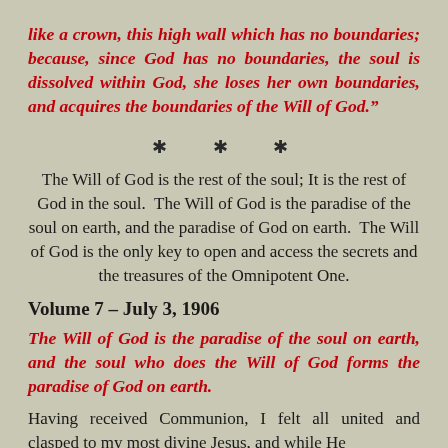like a crown, this high wall which has no boundaries; because, since God has no boundaries, the soul is dissolved within God, she loses her own boundaries, and acquires the boundaries of the Will of God.”
* * *
The Will of God is the rest of the soul; It is the rest of God in the soul. The Will of God is the paradise of the soul on earth, and the paradise of God on earth. The Will of God is the only key to open and access the secrets and the treasures of the Omnipotent One.
Volume 7 – July 3, 1906
The Will of God is the paradise of the soul on earth, and the soul who does the Will of God forms the paradise of God on earth.
Having received Communion, I felt all united and clasped to my most divine Jesus, and while He